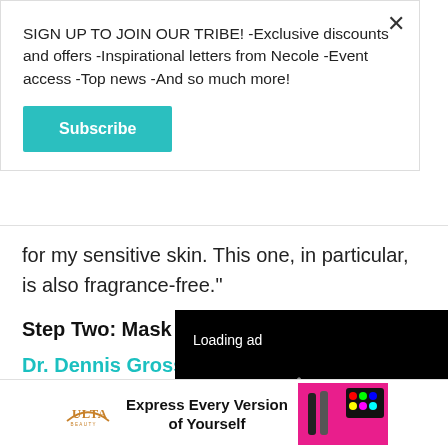SIGN UP TO JOIN OUR TRIBE! -Exclusive discounts and offers -Inspirational letters from Necole -Event access -Top news -And so much more!
Subscribe
for my sensitive skin. This one, in particular, is also fragrance-free."
Step Two: Mask
Dr. Dennis Gross D Pro
[Figure (screenshot): Video ad player with black background showing 'Loading ad' text and a loading spinner with pause, fullscreen, and mute controls]
[Figure (infographic): Ulta Beauty advertisement banner: 'Express Every Version of Yourself' with makeup products image]